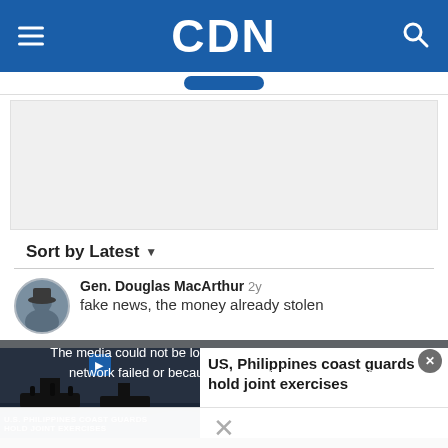CDN
[Figure (other): Grey advertisement placeholder box]
Sort by Latest
Gen. Douglas MacArthur 2y
fake news, the money already stolen
[Figure (screenshot): Video player overlay: The media could not be loaded, either because the server or network failed or because the format is not supported. Thumbnail shows U.S. Philippines coast guards hold joint exercises video with title 'US, Philippines coast guards hold joint exercises']
The media could not be loaded, either because the server or network failed or because the format is not supported.